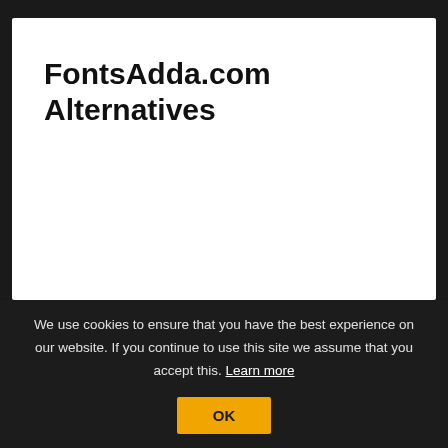FontsAdda.com Alternatives
We use cookies to ensure that you have the best experience on our website. If you continue to use this site we assume that you accept this. Learn more
OK